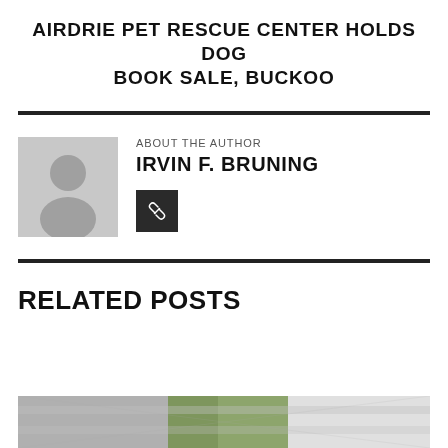AIRDRIE PET RESCUE CENTER HOLDS DOG BOOK SALE, BUCKOO
[Figure (illustration): Gray placeholder avatar silhouette of a person on a gray background]
ABOUT THE AUTHOR
IRVIN F. BRUNING
[Figure (other): Dark square button with a small icon (link/URL icon)]
RELATED POSTS
[Figure (photo): Partial image at the bottom of the page showing what appears to be a green and gray subject, cropped at the page edge]